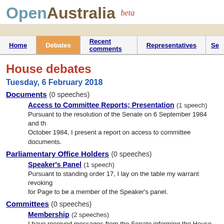OpenAustralia beta
Home | Debates | Recent comments | Representatives | Se
House debates
Tuesday, 6 February 2018
Documents (0 speeches)
Access to Committee Reports; Presentation (1 speech) — Pursuant to the resolution of the Senate on 6 September 1984 and th October 1984, I present a report on access to committee documents.
Parliamentary Office Holders (0 speeches)
Speaker's Panel (1 speech) — Pursuant to standing order 17, I lay on the table my warrant revoking for Page to be a member of the Speaker's panel.
Committees (0 speeches)
Membership (2 speeches) — I have received messages from the Senate informing the House of the committees. As the list of appointments is a lengthy one, I do not prop
Bills (0 speeches)